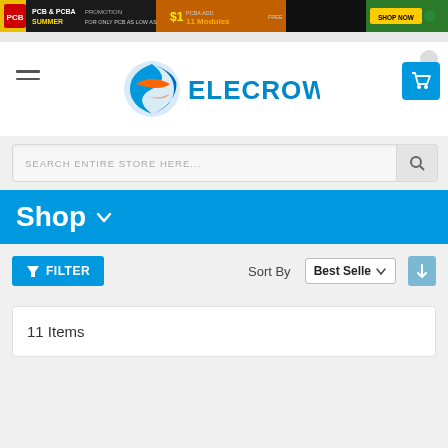[Figure (screenshot): Elecrow website promotional banner: PCB & PCBA Summer Promotion ad with yellow and dark background, showing pricing and a Shop Now button]
[Figure (logo): Elecrow logo with stylized blue and orange globe icon and ELECROW text in blue]
SEARCH ENTIRE STORE HERE...
Shop
FILTER
Sort By  Best Selle
11 Items